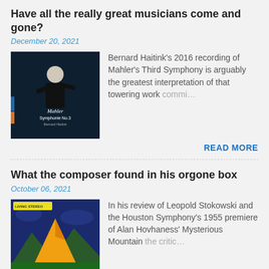Have all the really great musicians come and gone?
December 20, 2021
[Figure (photo): Album cover of Mahler Symphonie No.3 featuring Bernard Haitink conducting]
Bernard Haitink's 2016 recording of Mahler's Third Symphony is arguably the greatest interpretation of that towering work commi…
READ MORE
What the composer found in his orgone box
October 06, 2021
[Figure (photo): Album cover with Living Stereo label showing a golden triangle/mountain shape on a colorful abstract background]
In his review of Leopold Stokowski and the Houston Symphony's 1955 premiere of Alan Hovhaness' Mysterious Mountain the critic…
READ MORE